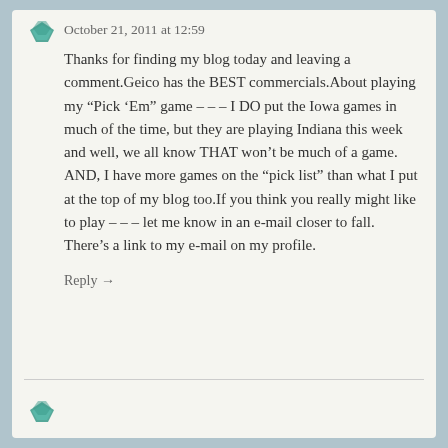October 21, 2011 at 12:59
Thanks for finding my blog today and leaving a comment.Geico has the BEST commercials.About playing my “Pick ‘Em” game – – – I DO put the Iowa games in much of the time, but they are playing Indiana this week and well, we all know THAT won’t be much of a game. AND, I have more games on the “pick list” than what I put at the top of my blog too.If you think you really might like to play – – – let me know in an e-mail closer to fall. There’s a link to my e-mail on my profile.
Reply →